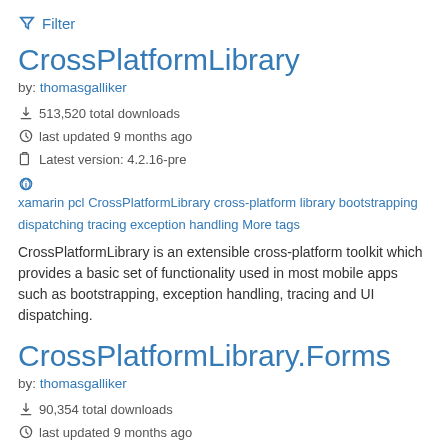Filter
CrossPlatformLibrary
by: thomasgalliker
513,520 total downloads
last updated 9 months ago
Latest version: 4.2.16-pre
xamarin pcl CrossPlatformLibrary cross-platform library bootstrapping dispatching tracing exception handling More tags
CrossPlatformLibrary is an extensible cross-platform toolkit which provides a basic set of functionality used in most mobile apps such as bootstrapping, exception handling, tracing and UI dispatching.
CrossPlatformLibrary.Forms
by: thomasgalliker
90,354 total downloads
last updated 9 months ago